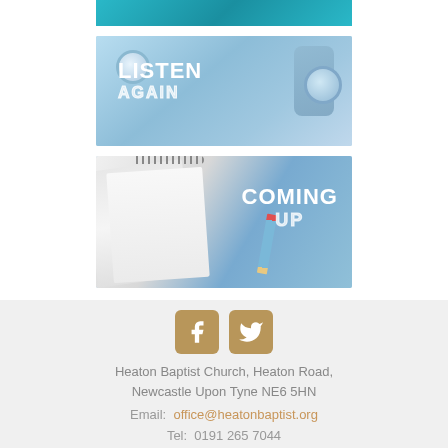[Figure (photo): Teal/cyan gradient banner strip at top]
[Figure (photo): Listen Again banner: blue background with earphones and phone, bold white text reading LISTEN AGAIN]
[Figure (photo): Coming Up banner: light blue background with notebook and pencil, bold white text reading COMING UP]
[Figure (illustration): Social media icons: Facebook (f) and Twitter (bird) in tan/gold rounded square buttons]
Heaton Baptist Church, Heaton Road, Newcastle Upon Tyne NE6 5HN
Email:  office@heatonbaptist.org
Tel:  0191 265 7044